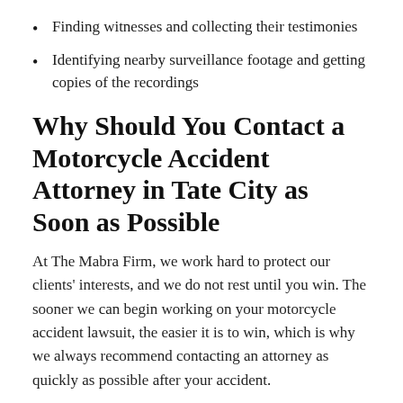Finding witnesses and collecting their testimonies
Identifying nearby surveillance footage and getting copies of the recordings
Why Should You Contact a Motorcycle Accident Attorney in Tate City as Soon as Possible
At The Mabra Firm, we work hard to protect our clients' interests, and we do not rest until you win. The sooner we can begin working on your motorcycle accident lawsuit, the easier it is to win, which is why we always recommend contacting an attorney as quickly as possible after your accident.